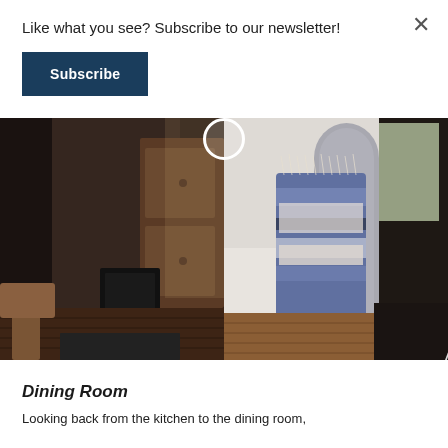Like what you see? Subscribe to our newsletter!
Subscribe
[Figure (photo): Two interior home photos side by side: left shows a dark entryway/hallway with wood flooring and a chair; right shows a grey upholstered chair with a blue and white fringed throw blanket draped over it, with wood flooring visible. An 'At Home in Arkansas' logo watermark appears in the bottom right of the combined image.]
Dining Room
Looking back from the kitchen to the dining room,